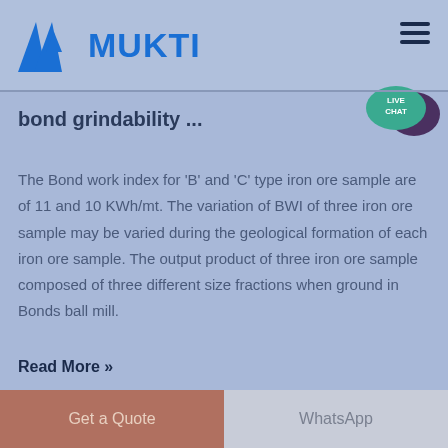MUKTI
bond grindability ...
The Bond work index for 'B' and 'C' type iron ore sample are of 11 and 10 KWh/mt. The variation of BWI of three iron ore sample may be varied during the geological formation of each iron ore sample. The output product of three iron ore sample composed of three different size fractions when ground in Bonds ball mill.
Read More »